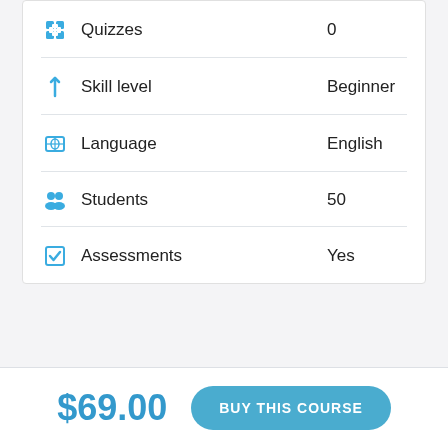Quizzes   0
Skill level   Beginner
Language   English
Students   50
Assessments   Yes
$69.00
BUY THIS COURSE